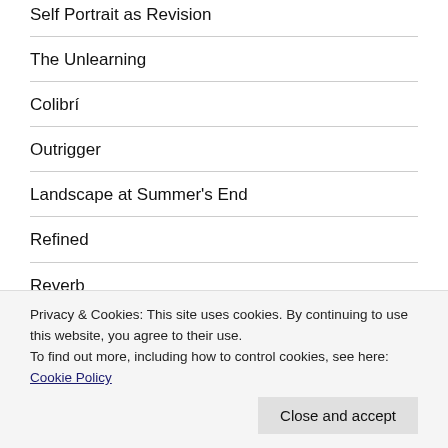Self Portrait as Revision
The Unlearning
Colibrí
Outrigger
Landscape at Summer's End
Refined
Reverb
Poetry Blog Digest 2022, Week 32
Privacy & Cookies: This site uses cookies. By continuing to use this website, you agree to their use.
To find out more, including how to control cookies, see here: Cookie Policy